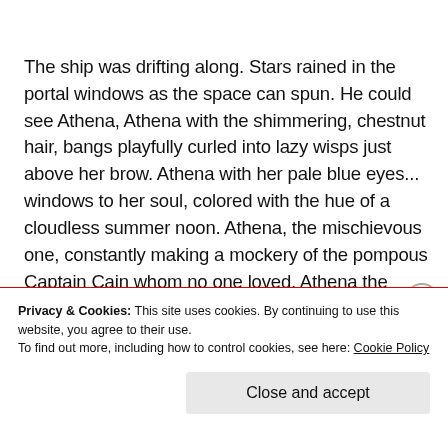The ship was drifting along. Stars rained in the portal windows as the space can spun. He could see Athena, Athena with the shimmering, chestnut hair, bangs playfully curled into lazy wisps just above her brow. Athena with her pale blue eyes... windows to her soul, colored with the hue of a cloudless summer noon. Athena, the mischievous one, constantly making a mockery of the pompous Captain Cain whom no one loved. Athena the maternal one, the one who nursed poor Captain Cain once he succumbed to the terminal, radiation illness and dimentia, tenderly dabbing
Privacy & Cookies: This site uses cookies. By continuing to use this website, you agree to their use.
To find out more, including how to control cookies, see here: Cookie Policy
Close and accept